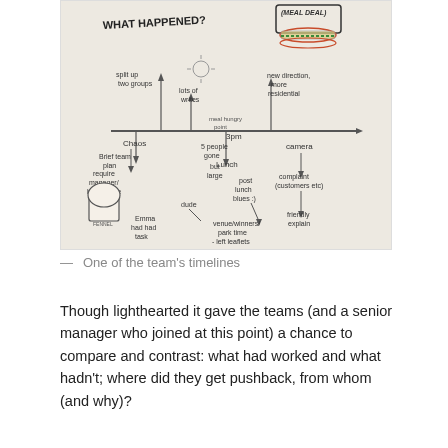[Figure (photo): A hand-drawn team timeline on paper showing 'WHAT HAPPENED?' with a horizontal arrow timeline, various annotations including 'Brief team plan', 'Lunch', 'Chaos', 'require manager/head office', 'camera complaint (customers etc)', 'friendly explain', 'venue/winners/park time - left leaflets', a drawing of a chef hat, and a meal deal illustration at the top right.]
One of the team's timelines
Though lighthearted it gave the teams (and a senior manager who joined at this point) a chance to compare and contrast: what had worked and what hadn't; where did they get pushback, from whom (and why)?